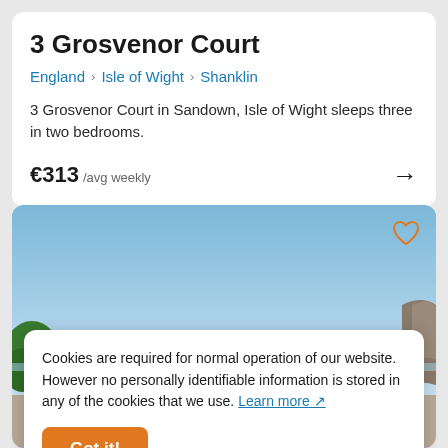3 Grosvenor Court
England › Isle of Wight › Shanklin
3 Grosvenor Court in Sandown, Isle of Wight sleeps three in two bedrooms.
€313 /avg weekly
[Figure (photo): Outdoor photo showing blue sky, trees on left, rocky cliff on right, and what appears to be a seaside property below]
Cookies are required for normal operation of our website. However no personally identifiable information is stored in any of the cookies that we use. Learn more